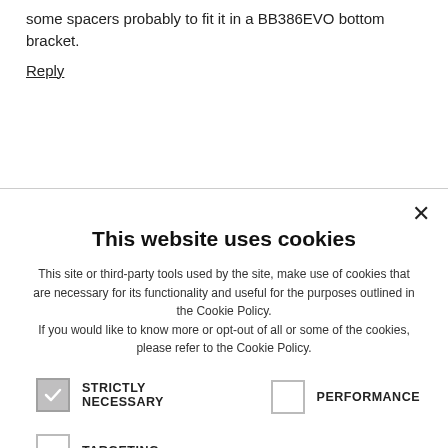some spacers probably to fit it in a BB386EVO bottom bracket.
Reply
This website uses cookies
This site or third-party tools used by the site, make use of cookies that are necessary for its functionality and useful for the purposes outlined in the Cookie Policy. If you would like to know more or opt-out of all or some of the cookies, please refer to the Cookie Policy.
STRICTLY NECESSARY (checked)
PERFORMANCE (unchecked)
TARGETING (unchecked)
ACCEPT ALL | DECLINE ALL
SHOW DETAILS